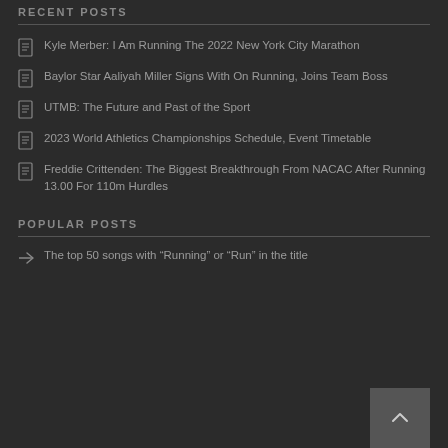RECENT POSTS
Kyle Merber: I Am Running The 2022 New York City Marathon
Baylor Star Aaliyah Miller Signs With On Running, Joins Team Boss
UTMB: The Future and Past of the Sport
2023 World Athletics Championships Schedule, Event Timetable
Freddie Crittenden: The Biggest Breakthrough From NACAC After Running 13.00 For 110m Hurdles
POPULAR POSTS
The top 50 songs with “Running” or “Run” in the title